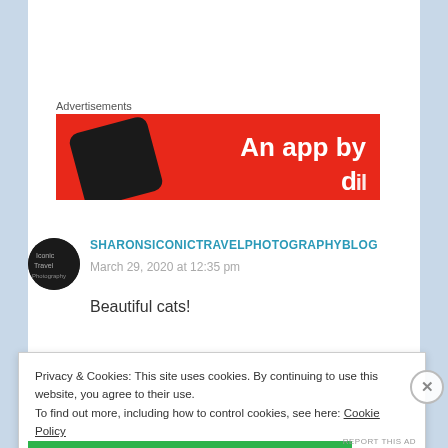Advertisements
[Figure (photo): Red advertisement banner with text 'An app by' and a dark phone image on the left]
SHARONSICONICTRAVELPHOTOGRAPHYBLOG
March 29, 2020 at 12:35 pm
Beautiful cats!
Privacy & Cookies: This site uses cookies. By continuing to use this website, you agree to their use.
To find out more, including how to control cookies, see here: Cookie Policy
Close and accept